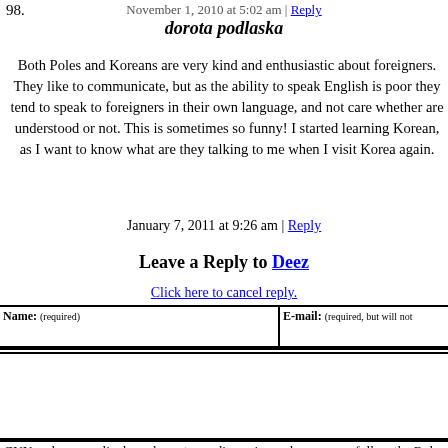November 1, 2010 at 5:02 am | Reply
98.
dorota podlaska
Both Poles and Koreans are very kind and enthusiastic about foreigners. They like to communicate, but as the ability to speak English is poor they tend to speak to foreigners in their own language, and not care whether are understood or not. This is sometimes so funny! I started learning Korean, as I want to know what are they talking to me when I visit Korea again.
January 7, 2011 at 9:26 am | Reply
Leave a Reply to Deez
Click here to cancel reply.
CNN welcomes a lively and courteous discussion as long as you follow the Rules our Terms of Service. Comments are not pre-screened before they post. You agree